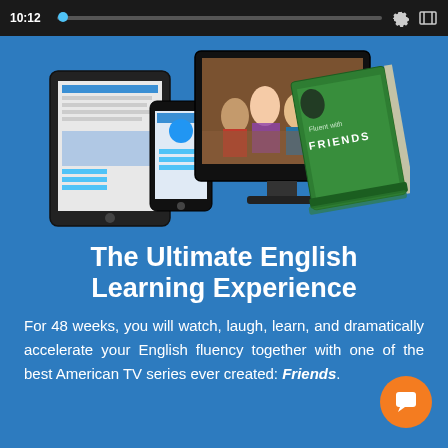10:12
[Figure (screenshot): Devices showing the Fluent with Friends course — a tablet, smartphone, desktop monitor displaying a Friends TV show scene, and a book titled 'Fluent with Friends']
The Ultimate English Learning Experience
For 48 weeks, you will watch, laugh, learn, and dramatically accelerate your English fluency together with one of the best American TV series ever created: Friends.